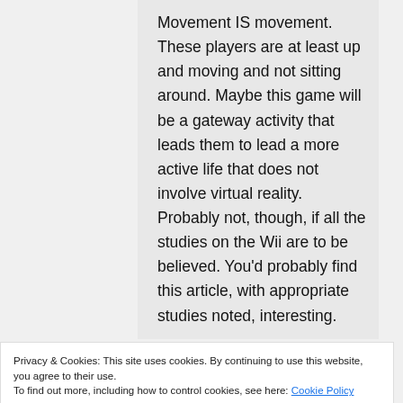Movement IS movement. These players are at least up and moving and not sitting around. Maybe this game will be a gateway activity that leads them to lead a more active life that does not involve virtual reality. Probably not, though, if all the studies on the Wii are to be believed. You'd probably find this article, with appropriate studies noted, interesting.
Privacy & Cookies: This site uses cookies. By continuing to use this website, you agree to their use.
To find out more, including how to control cookies, see here: Cookie Policy
Close and accept
Here are a couple of excerpts